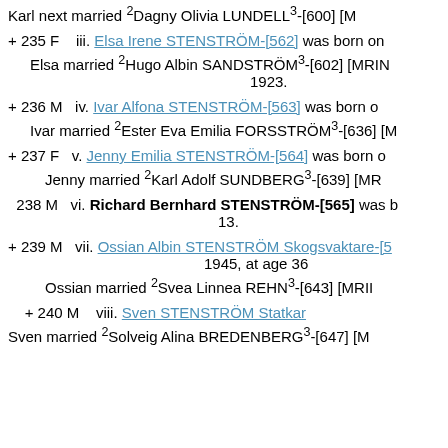Karl next married ²Dagny Olivia LUNDELL³-[600] [M...
+ 235 F   iii. Elsa Irene STENSTRÖM-[562] was born on...
Elsa married ²Hugo Albin SANDSTRÖM³-[602] [MRIN... 1923.
+ 236 M   iv. Ivar Alfona STENSTRÖM-[563] was born o...
Ivar married ²Ester Eva Emilia FORSSTRÖM³-[636] [M...
+ 237 F   v. Jenny Emilia STENSTRÖM-[564] was born o...
Jenny married ²Karl Adolf SUNDBERG³-[639] [MR...
238 M   vi. Richard Bernhard STENSTRÖM-[565] was b... 13.
+ 239 M   vii. Ossian Albin STENSTRÖM Skogsvaktare-[... 1945, at age 36
Ossian married ²Svea Linnea REHN³-[643] [MRII...
+ 240 M   viii. Sven STENSTRÖM Statkar...
Sven married ²Solveig Alina BREDENBERG³-[647] [...